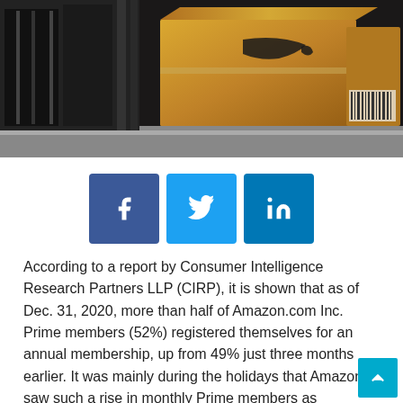[Figure (photo): Photograph of Amazon shipping boxes stacked on a shelf against a dark background]
[Figure (infographic): Social media share buttons: Facebook (blue), Twitter (light blue), LinkedIn (dark blue)]
According to a report by Consumer Intelligence Research Partners LLP (CIRP), it is shown that as of Dec. 31, 2020, more than half of Amazon.com Inc. Prime members (52%) registered themselves for an annual membership, up from 49% just three months earlier. It was mainly during the holidays that Amazon saw such a rise in monthly Prime members as shoppers are looking to take advantage of the benefits like free shipping, early shipping that too without making a long term commitment.